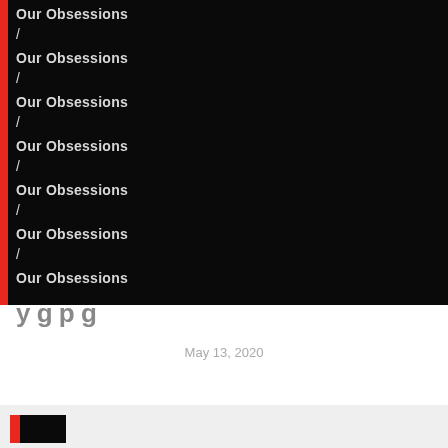Our Obsessions
/
Our Obsessions
/
Our Obsessions
/
Our Obsessions
/
Our Obsessions
/
Our Obsessions
/
Our Obsessions
May 13, 2020
[Figure (logo): Small logo with red and black blocks]